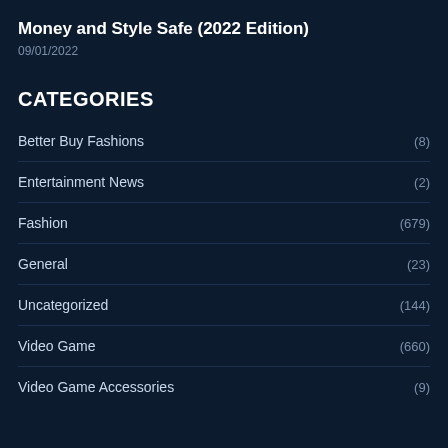Money and Style Safe (2022 Edition)
09/01/2022
CATEGORIES
Better Buy Fashions (8)
Entertainment News (2)
Fashion (679)
General (23)
Uncategorized (144)
Video Game (660)
Video Game Accessories (9)